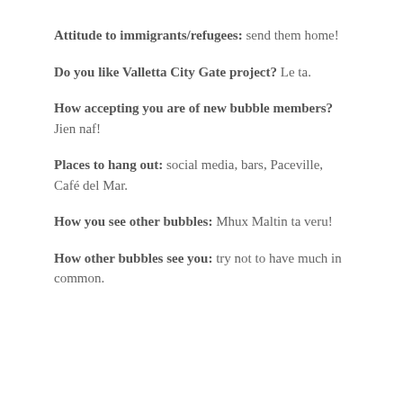Attitude to immigrants/refugees: send them home!
Do you like Valletta City Gate project? Le ta.
How accepting you are of new bubble members? Jien naf!
Places to hang out: social media, bars, Paceville, Café del Mar.
How you see other bubbles: Mhux Maltin ta veru!
How other bubbles see you: try not to have much in common.